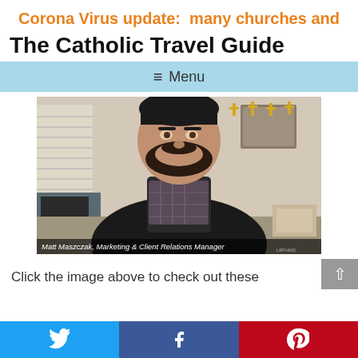Corona Virus update:  many churches and
The Catholic Travel Guide
≡ Menu
[Figure (photo): Video thumbnail showing a bearded man in a dark vest speaking to camera, with gold crosses on the wall behind him. Caption overlay: Matt Maszczak, Marketing & Client Relations Manager]
Click the image above to check out these